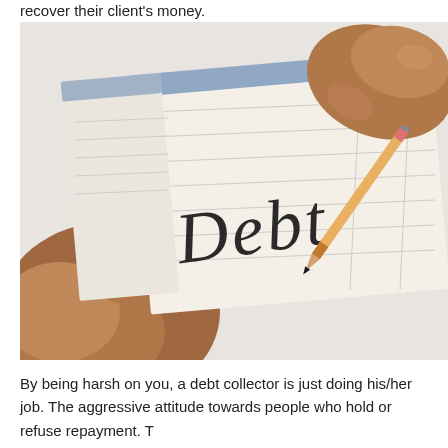recover their client's money.
[Figure (photo): Two hands holding a pencil and writing the word 'Debt' in cursive on a checkbook page. The scene is photographed close-up on a white surface.]
By being harsh on you, a debt collector is just doing his/her job. The aggressive attitude towards people who hold or refuse repayment. T